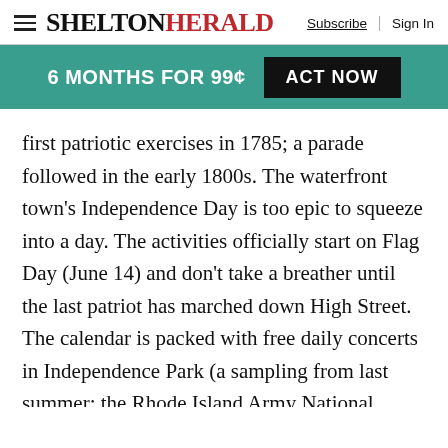SHELTON HERALD — Subscribe | Sign In
[Figure (infographic): Teal promotional banner with white bold text '6 MONTHS FOR 99¢' and a black button reading 'ACT NOW']
first patriotic exercises in 1785; a parade followed in the early 1800s. The waterfront town's Independence Day is too epic to squeeze into a day. The activities officially start on Flag Day (June 14) and don't take a breather until the last patriot has marched down High Street. The calendar is packed with free daily concerts in Independence Park (a sampling from last summer: the Rhode Island Army National Guard 88th Army Band, Bad Zeppelin and a Jimmy Buffett tribute band) …